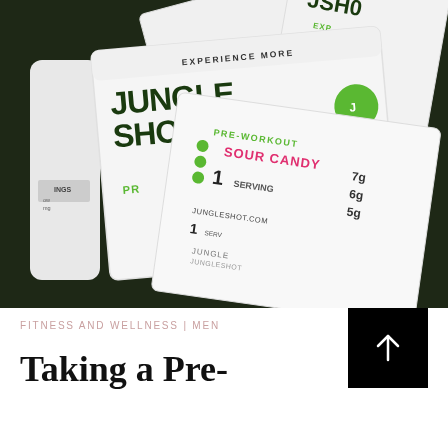[Figure (photo): Overhead photo of multiple white Jungle Shot pre-workout supplement packets on a dark green surface. Packets display 'EXPERIENCE MORE JUNGLE SHOT' branding in dark green lettering, 'PRE-WORKOUT' in green, 'SOUR CANDY' flavor in pink/magenta, and nutrition info including '1 serving', '7g', '6g', '5g'. Also visible is the jungleshot.com URL and a white cylindrical container on the left side.]
FITNESS AND WELLNESS | MEN
Taking a Pre-